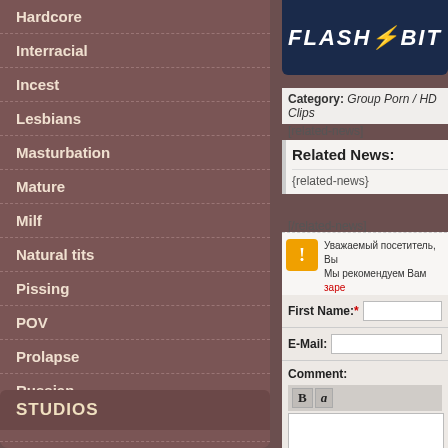Hardcore
Interracial
Incest
Lesbians
Masturbation
Mature
Milf
Natural tits
Pissing
POV
Prolapse
Russian
Scat
Shemale
Solo
Strapon
Teen
STUDIOS
[Figure (logo): FlashBit logo - white bold italic text on dark navy background with lightning bolt]
Category: Group Porn / HD Clips
[related-news]
Related News:
{related-news}
[/related-news]
Уважаемый посетитель, Вы Мы рекомендуем Вам зар...
First Name:*
E-Mail:
Comment: